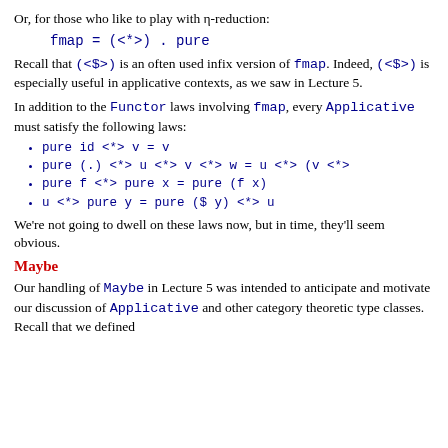Or, for those who like to play with η-reduction:
Recall that (<$>) is an often used infix version of fmap. Indeed, (<$>) is especially useful in applicative contexts, as we saw in Lecture 5.
In addition to the Functor laws involving fmap, every Applicative must satisfy the following laws:
pure id <*> v = v
pure (.) <*> u <*> v <*> w = u <*> (v <*>
pure f <*> pure x = pure (f x)
u <*> pure y = pure ($ y) <*> u
We're not going to dwell on these laws now, but in time, they'll seem obvious.
Maybe
Our handling of Maybe in Lecture 5 was intended to anticipate and motivate our discussion of Applicative and other category theoretic type classes. Recall that we defined